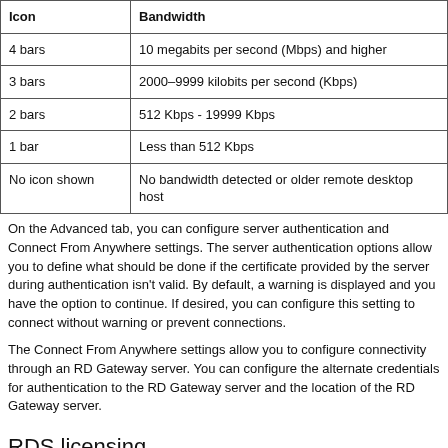| Icon | Bandwidth |
| --- | --- |
| 4 bars | 10 megabits per second (Mbps) and higher |
| 3 bars | 2000–9999 kilobits per second (Kbps) |
| 2 bars | 512 Kbps - 19999 Kbps |
| 1 bar | Less than 512 Kbps |
| No icon shown | No bandwidth detected or older remote desktop host |
On the Advanced tab, you can configure server authentication and Connect From Anywhere settings. The server authentication options allow you to define what should be done if the certificate provided by the server during authentication isn't valid. By default, a warning is displayed and you have the option to continue. If desired, you can configure this setting to connect without warning or prevent connections.
The Connect From Anywhere settings allow you to configure connectivity through an RD Gateway server. You can configure the alternate credentials for authentication to the RD Gateway server and the location of the RD Gateway server.
RDS licensing
If you want to use RDS, you need to purchase additional RDS CALs for each user or device that uses RDS. This is in addition to the typical